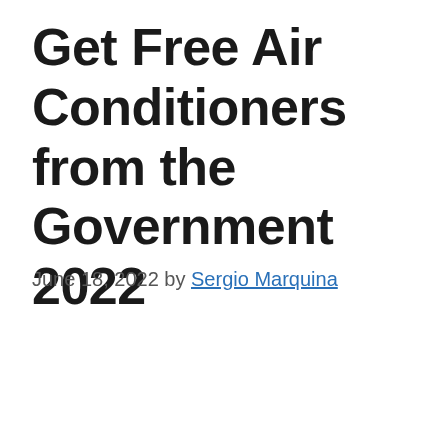Get Free Air Conditioners from the Government 2022
June 18, 2022 by Sergio Marquina